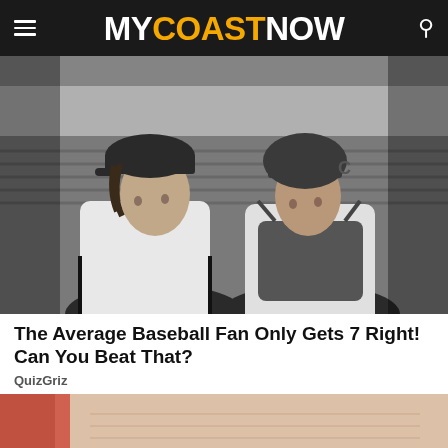MY COAST NOW
[Figure (photo): Black and white photo of two baseball players in uniform facing each other closely, appearing to argue or have an intense conversation. One wears a pitcher's cap, the other wears a catcher's helmet with gear. Stadium bleachers visible in background.]
The Average Baseball Fan Only Gets 7 Right! Can You Beat That?
QuizGriz
[Figure (photo): Partially visible bottom teaser image with reddish-pink tones, cropped at the bottom of the page.]